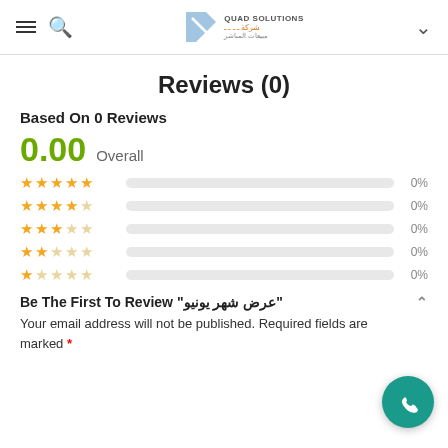Quad Solutions header with menu, search, logo, and chevron
Reviews (0)
Based On 0 Reviews
0.00 Overall
[Figure (infographic): Star rating breakdown: 5 stars 0%, 4 stars 0%, 3 stars 0%, 2 stars 0%, 1 star 0%]
Be The First To Review "عرض شهر يونيو"
Your email address will not be published. Required fields are marked *